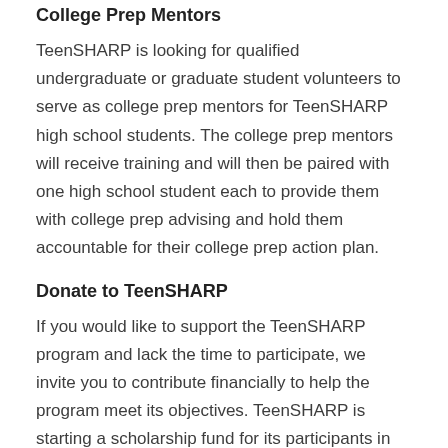College Prep Mentors
TeenSHARP is looking for qualified undergraduate or graduate student volunteers to serve as college prep mentors for TeenSHARP high school students. The college prep mentors will receive training and will then be paired with one high school student each to provide them with college prep advising and hold them accountable for their college prep action plan.
Donate to TeenSHARP
If you would like to support the TeenSHARP program and lack the time to participate, we invite you to contribute financially to help the program meet its objectives. TeenSHARP is starting a scholarship fund for its participants in 2011 and is also looking for sponsors